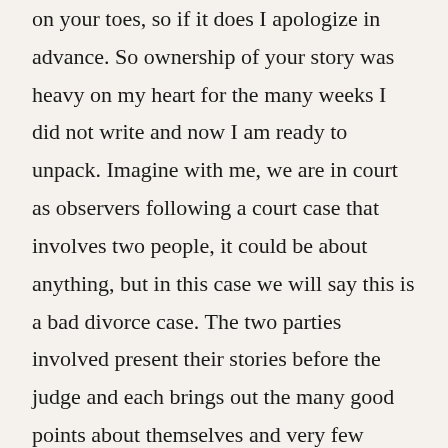on your toes, so if it does I apologize in advance. So ownership of your story was heavy on my heart for the many weeks I did not write and now I am ready to unpack. Imagine with me, we are in court as observers following a court case that involves two people, it could be about anything, but in this case we will say this is a bad divorce case. The two parties involved present their stories before the judge and each brings out the many good points about themselves and very few selected bad points only to wait on the verdict of the judge. When telling their stories each may or may not own up to their full story and eliminate the bad side of the story, but at the end of it all the judge has the final verdict. I hope you know where I am going with